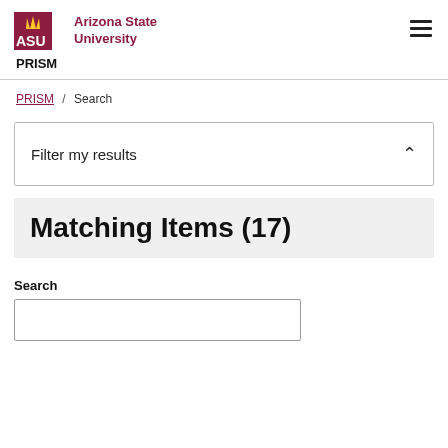[Figure (logo): Arizona State University ASU logo with maroon and gold ASU letters and 'Arizona State University' text]
PRISM
PRISM / Search
Filter my results
Matching Items (17)
Search